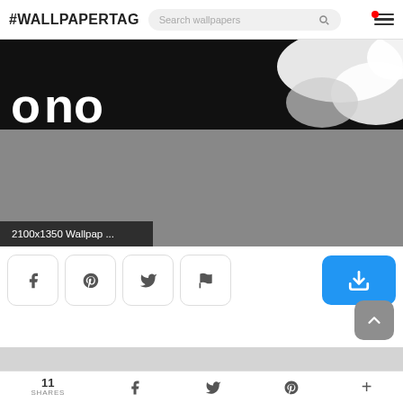#WALLPAPERTAG
[Figure (screenshot): Wallpaper website screenshot showing a black and white abstract wallpaper image with label '2100x1350 Wallpap ...']
2100x1350 Wallpap ...
[Figure (infographic): Social sharing buttons: Facebook, Pinterest, Twitter, Flag, and a blue download button]
[Figure (other): Scroll-to-top button (upward arrow on gray background)]
11 SHARES
f (Facebook share) | Twitter share | Pinterest share | + (more)